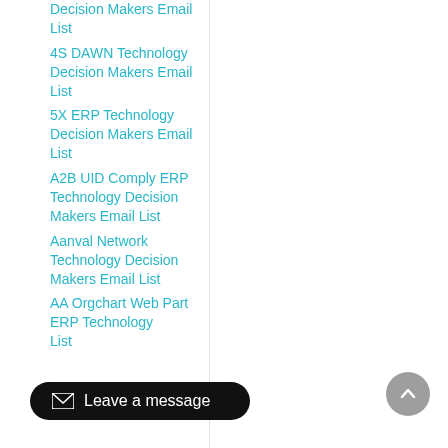Decision Makers Email List
4S DAWN Technology Decision Makers Email List
5X ERP Technology Decision Makers Email List
A2B UID Comply ERP Technology Decision Makers Email List
Aanval Network Technology Decision Makers Email List
AA Orgchart Web Part ERP Technology Decision Makers List